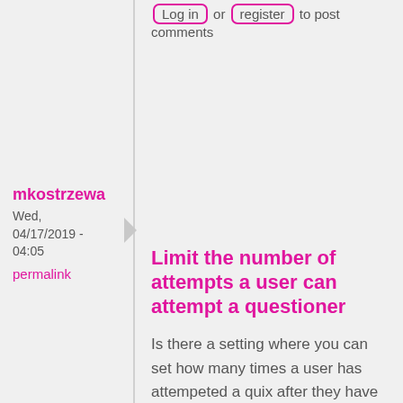Log in or register to post comments
mkostrzewa
Wed, 04/17/2019 - 04:05
permalink
Limit the number of attempts a user can attempt a questioner
Is there a setting where you can set how many times a user has attempeted a quix after they have failed?
Log in or register to post comments